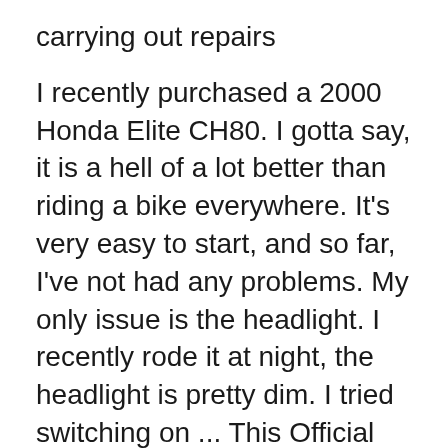carrying out repairs
I recently purchased a 2000 Honda Elite CH80. I gotta say, it is a hell of a lot better than riding a bike everywhere. It's very easy to start, and so far, I've not had any problems. My only issue is the headlight. I recently rode it at night, the headlight is pretty dim. I tried switching on ... This Official 1985-2007 Honda CH80 Elite Factory Service Manual provides detailed service information, step-by-step repair instruction and maintenance specifications for 1985-2007 Honda CH80 ELITE scooters. This manual replaces Honda publication number 61CE100...